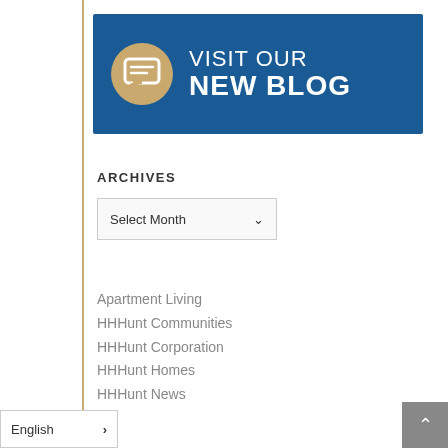[Figure (illustration): Blue banner with gold circle containing a chat/message icon and white text reading VISIT OUR NEW BLOG]
ARCHIVES
[Figure (screenshot): A dropdown UI element labeled 'Select Month' with a chevron arrow]
Apartment Living
HHHunt Communities
HHHunt Corporation
HHHunt Homes
HHHunt News
English ›